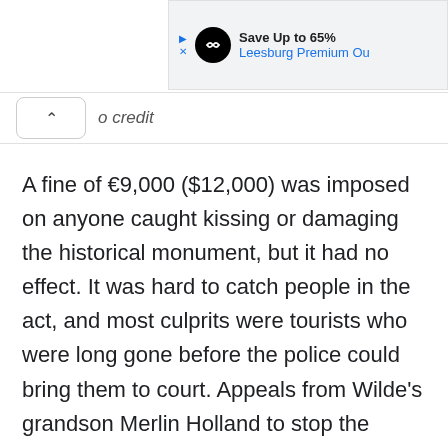[Figure (screenshot): Advertisement banner showing 'Save Up to 65% Leesburg Premium Ou...' with black circular logo and blue text]
o credit
A fine of €9,000 ($12,000) was imposed on anyone caught kissing or damaging the historical monument, but it had no effect. It was hard to catch people in the act, and most culprits were tourists who were long gone before the police could bring them to court. Appeals from Wilde's grandson Merlin Holland to stop the practice also fell on deaf ears. A plaque asking fans to respect the tomb instead of defacing it went in vain.